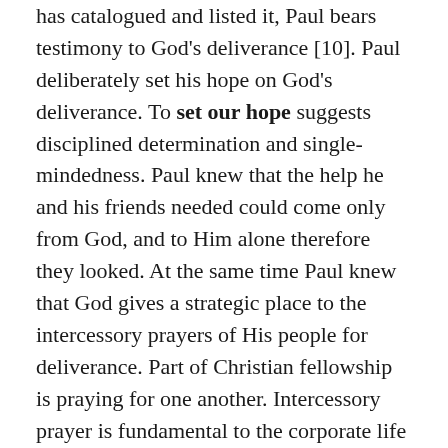has catalogued and listed it, Paul bears testimony to God's deliverance [10]. Paul deliberately set his hope on God's deliverance. To set our hope suggests disciplined determination and single-mindedness. Paul knew that the help he and his friends needed could come only from God, and to Him alone therefore they looked. At the same time Paul knew that God gives a strategic place to the intercessory prayers of His people for deliverance. Part of Christian fellowship is praying for one another. Intercessory prayer is fundamental to the corporate life of God's people. Our prayers are part of God's rescue plan in His scheme of deliverance. Answered prayers prompt thanksgiving to God [11], and thanksgiving honors and glorifies Him. Looking back, Paul saw how the deliverance God afforded him and his companions through answered prayer brought